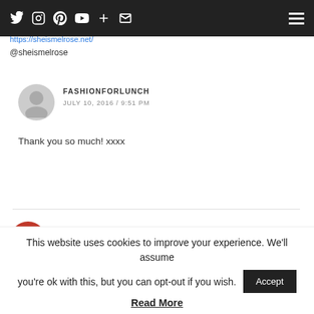Navigation bar with social icons (Twitter, Instagram, Pinterest, YouTube, Plus, Email) and hamburger menu
the star lines are amazing.
https://sheismelrose.net/
@sheismelrose
FASHIONFORLUNCH
JULY 10, 2016 / 9:51 PM
Thank you so much! xxxx
FINESSECURVES
This website uses cookies to improve your experience. We'll assume you're ok with this, but you can opt-out if you wish.
Read More